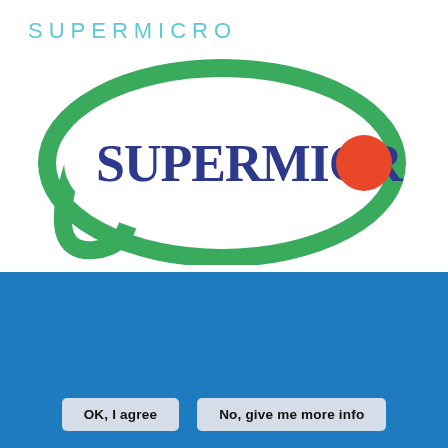SUPERMICRO
[Figure (logo): Supermicro logo: green elliptical swoosh outline with 'SUPERMICRO' in dark blue serif text and a red circle replacing the letter O at the end]
WE USE COOKIES ON THIS SITE TO ENHANCE YOUR USER EXPERIENCE
By clicking any link on this page you are giving your consent for us to set cookies.
OK, I agree
No, give me more info